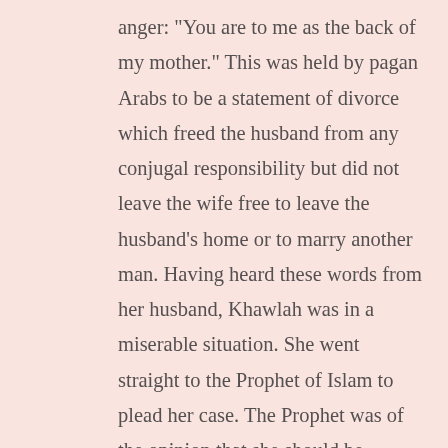anger: "You are to me as the back of my mother." This was held by pagan Arabs to be a statement of divorce which freed the husband from any conjugal responsibility but did not leave the wife free to leave the husband's home or to marry another man. Having heard these words from her husband, Khawlah was in a miserable situation. She went straight to the Prophet of Islam to plead her case. The Prophet was of the opinion that she should be patient since there seemed to be no way out. Khawla kept arguing with the Prophet in an attempt to save her suspended marriage. Shortly, the Quran intervened; Khawla's plea was accepted. The